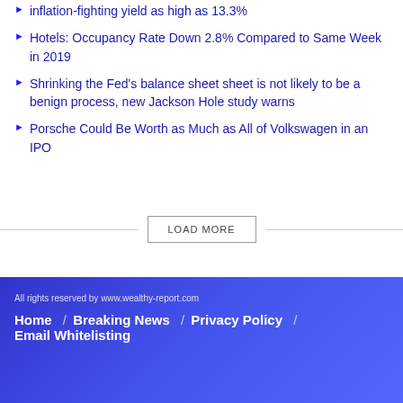inflation-fighting yield as high as 13.3%
Hotels: Occupancy Rate Down 2.8% Compared to Same Week in 2019
Shrinking the Fed's balance sheet sheet is not likely to be a benign process, new Jackson Hole study warns
Porsche Could Be Worth as Much as All of Volkswagen in an IPO
LOAD MORE
All rights reserved by www.wealthy-report.com
Home / Breaking News / Privacy Policy / Email Whitelisting